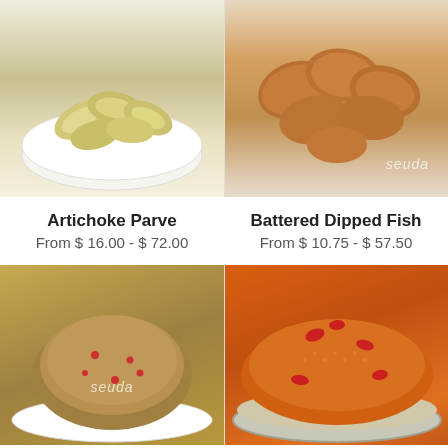[Figure (photo): Bowl of artichoke parve (cashew-like artichoke hearts in a white bowl) with watermark 'seuda']
[Figure (photo): Plate of battered dipped fish pieces on white background with watermark 'seuda']
Artichoke Parve
From $ 16.00 - $ 72.00
Battered Dipped Fish
From $ 10.75 - $ 57.50
[Figure (photo): Plate of Bhurgal and Chickpeas grain dish with red pepper flakes, watermark 'seuda']
[Figure (photo): Large round tray of couscous-style dish with red peppers in orange sauce]
Bhurgal and Chickpeas
From $ 14.00 - $ 52.00